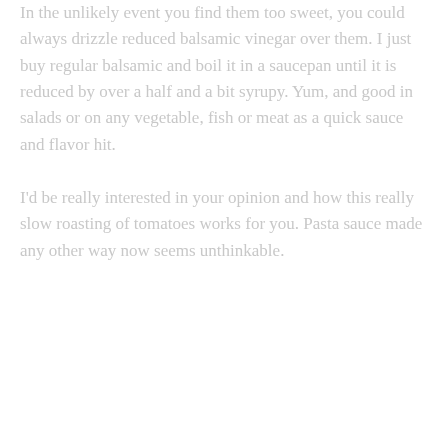In the unlikely event you find them too sweet, you could always drizzle reduced balsamic vinegar over them. I just buy regular balsamic and boil it in a saucepan until it is reduced by over a half and a bit syrupy. Yum, and good in salads or on any vegetable, fish or meat as a quick sauce and flavor hit.
I'd be really interested in your opinion and how this really slow roasting of tomatoes works for you. Pasta sauce made any other way now seems unthinkable.